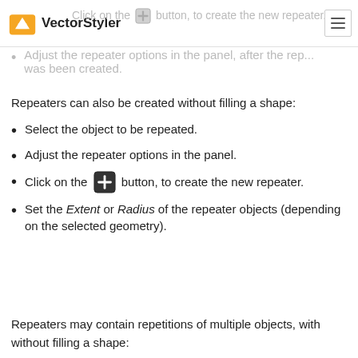VectorStyler — Click on the [+] button, to create the new repeater.
Adjust the repeater options in the panel, after the repeater was been created.
Repeaters can also be created without filling a shape:
Select the object to be repeated.
Adjust the repeater options in the panel.
Click on the [+] button, to create the new repeater.
Set the Extent or Radius of the repeater objects (depending on the selected geometry).
Repeaters may contain repetitions of multiple objects, with without filling a shape: